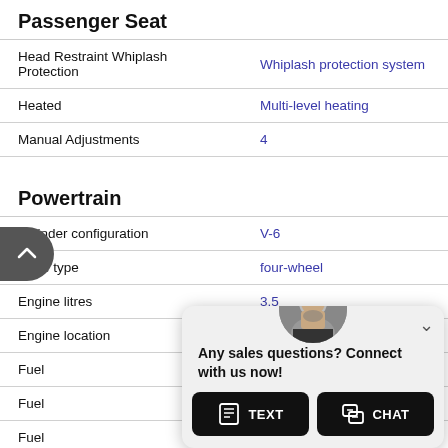Passenger Seat
| Feature | Value |
| --- | --- |
| Head Restraint Whiplash Protection | Whiplash protection system |
| Heated | Multi-level heating |
| Manual Adjustments | 4 |
Powertrain
| Feature | Value |
| --- | --- |
| Cylinder configuration | V-6 |
| Drive type | four-wheel |
| Engine litres | 3.5 |
| Engine location | front |
| Fuel |  |
| Fuel |  |
| Fuel |  |
| Fuel |  |
| Horse | 0RPM |
| Limit | d |
[Figure (screenshot): Chat popup overlay with avatar photo, 'Any sales questions? Connect with us now!' message, and TEXT and CHAT buttons]